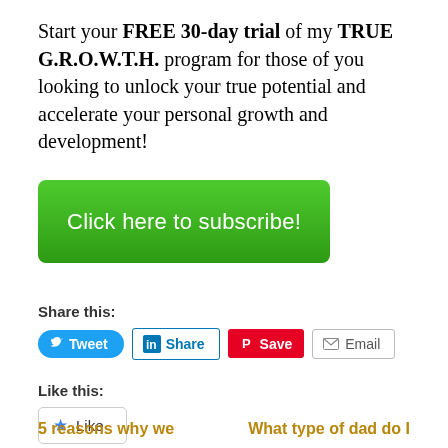Start your FREE 30-day trial of my TRUE G.R.O.W.T.H. program for those of you looking to unlock your true potential and accelerate your personal growth and development!
[Figure (other): Green rounded rectangle button with white text reading 'Click here to subscribe!']
Share this:
[Figure (other): Social share buttons: Tweet (blue, Twitter bird icon), Share (LinkedIn blue outline, 'in' icon), Save (Pinterest red, circle P icon), Email (gray outline, envelope icon)]
Like this:
[Figure (other): WordPress Like button widget with blue star icon and 'Like' text in a gray bordered box]
Be the first to like this.
5 reasons why we
What type of dad do I